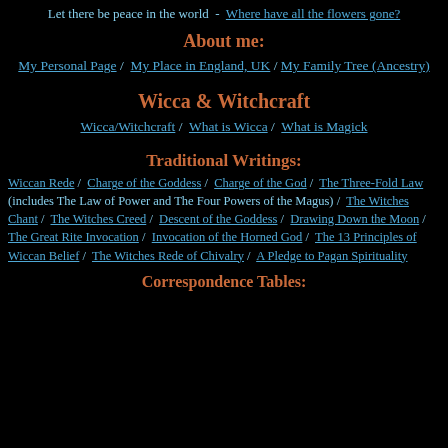Let there be peace in the world - Where have all the flowers gone?
About me:
My Personal Page / My Place in England, UK / My Family Tree (Ancestry)
Wicca & Witchcraft
Wicca/Witchcraft / What is Wicca / What is Magick
Traditional Writings:
Wiccan Rede / Charge of the Goddess / Charge of the God / The Three-Fold Law (includes The Law of Power and The Four Powers of the Magus) / The Witches Chant / The Witches Creed / Descent of the Goddess / Drawing Down the Moon / The Great Rite Invocation / Invocation of the Horned God / The 13 Principles of Wiccan Belief / The Witches Rede of Chivalry / A Pledge to Pagan Spirituality
Correspondence Tables: